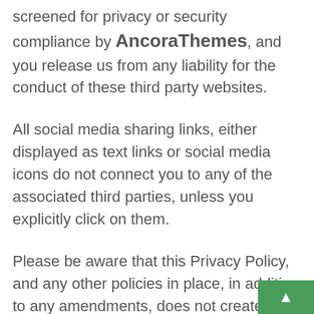screened for privacy or security compliance by AncoraThemes, and you release us from any liability for the conduct of these third party websites.
All social media sharing links, either displayed as text links or social media icons do not connect you to any of the associated third parties, unless you explicitly click on them.
Please be aware that this Privacy Policy, and any other policies in place, in addition to any amendments, does not create rights enforceable by third parties or require disclosure of any personal information relating to members of the Service or